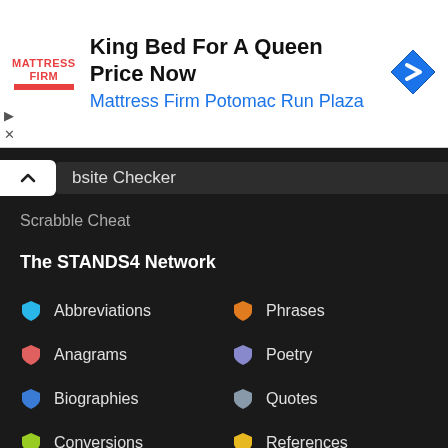[Figure (infographic): Mattress Firm advertisement banner: 'King Bed For A Queen Price Now' with Mattress Firm logo and blue diamond arrow icon, 'Mattress Firm Potomac Run Plaza' subtitle in blue]
bsite Checker
Scrabble Cheat
The STANDS4 Network
Abbreviations
Phrases
Anagrams
Poetry
Biographies
Quotes
Conversions
References
Calculators
Rhymes
Definitions
Scripts
Grammar
Symbols